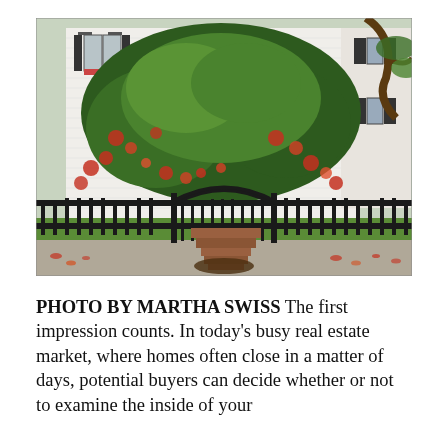[Figure (photo): Photograph of a white colonial-style house with black shutters, partially obscured by a large green flowering shrub/tree with red/orange blooms. A black wrought-iron fence with an arched gate runs along the front. Brick steps lead up to the gate. Fallen leaves on the sidewalk. A second house is partially visible on the right.]
PHOTO BY MARTHA SWISS The first impression counts. In today's busy real estate market, where homes often close in a matter of days, potential buyers can decide whether or not to examine the inside of your